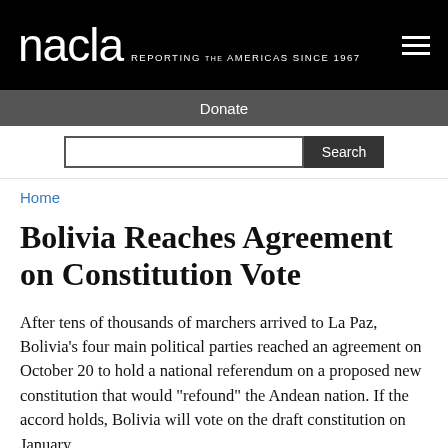nacla REPORTING THE AMERICAS SINCE 1967
Donate
Search
Home
Bolivia Reaches Agreement on Constitution Vote
After tens of thousands of marchers arrived to La Paz, Bolivia’s four main political parties reached an agreement on October 20 to hold a national referendum on a proposed new constitution that would "refound" the Andean nation. If the accord holds, Bolivia will vote on the draft constitution on January